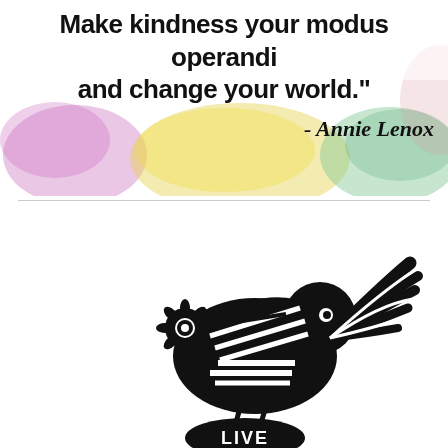[Figure (illustration): Quote image with colorful blurred watercolor background (pink, yellow, green blobs). Bold black text reads: 'Make kindness your modus operandi and change your world.' Attribution: - Annie Lenox in italic serif font.]
[Figure (illustration): Black silhouette papercut-style bird (wren or robin) holding a flower in its beak, with striped wing and tail feathers spread. The bird stands on a round object with 'LIVE' text. White negative-space stripes on body and wing.]